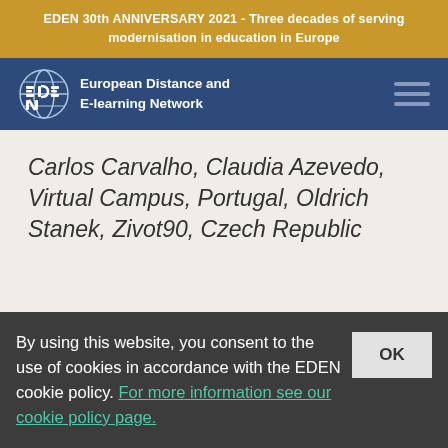EDEN 30th ANNIVERSARY 2021 - Three decades of serving modernisation in education in Europe
[Figure (logo): EDEN European Distance and E-learning Network logo with globe icon and hamburger menu]
Carlos Carvalho, Claudia Azevedo, Virtual Campus, Portugal, Oldrich Stanek, Zivot90, Czech Republic
A Model for Building Trust in Online Environments
By using this website, you consent to the use of cookies in accordance with the EDEN cookie policy. For more information see our cookie policy page.